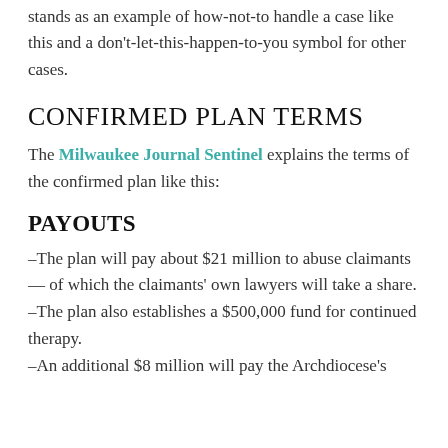stands as an example of how-not-to handle a case like this and a don't-let-this-happen-to-you symbol for other cases.
CONFIRMED PLAN TERMS
The Milwaukee Journal Sentinel explains the terms of the confirmed plan like this:
PAYOUTS
–The plan will pay about $21 million to abuse claimants — of which the claimants' own lawyers will take a share.
–The plan also establishes a $500,000 fund for continued therapy.
–An additional $8 million will pay the Archdiocese's